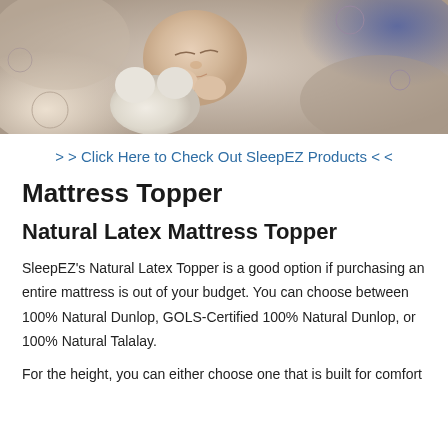[Figure (photo): A sleeping baby cuddling a stuffed animal toy, wrapped in a patterned blanket, wearing a blue outfit]
> > Click Here to Check Out SleepEZ Products < <
Mattress Topper
Natural Latex Mattress Topper
SleepEZ's Natural Latex Topper is a good option if purchasing an entire mattress is out of your budget. You can choose between 100% Natural Dunlop, GOLS-Certified 100% Natural Dunlop, or 100% Natural Talalay.
For the height, you can either choose one that is built for comfort